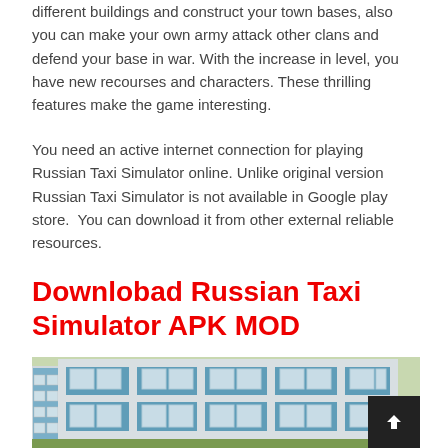different buildings and construct your town bases, also you can make your own army attack other clans and defend your base in war. With the increase in level, you have new recourses and characters. These thrilling features make the game interesting.
You need an active internet connection for playing Russian Taxi Simulator online. Unlike original version Russian Taxi Simulator is not available in Google play store.  You can download it from other external reliable resources.
Downlobad Russian Taxi Simulator APK MOD
[Figure (screenshot): Screenshot of Russian Taxi Simulator game showing a blue multi-storey building with white window frames in a 3D rendered environment.]